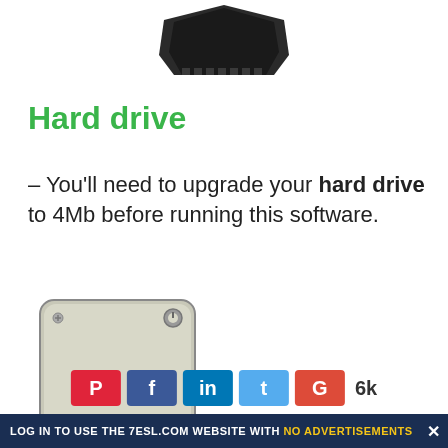[Figure (illustration): Top portion of a clip/clamp object, partially cropped at the top of the page]
Hard drive
– You'll need to upgrade your hard drive to 4Mb before running this software.
[Figure (illustration): Illustration of a hard drive unit with cables connected]
LOG IN TO USE THE 7ESL.COM WEBSITE WITH NO ADVERTISEMENTS